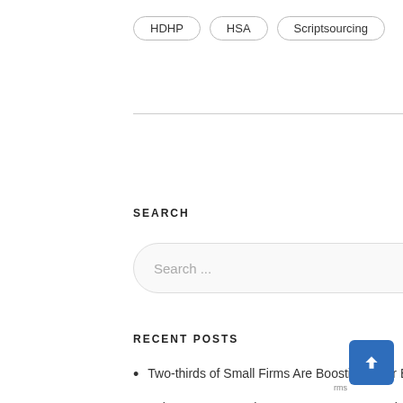HDHP
HSA
Scriptsourcing
SEARCH
[Figure (other): Search input box with placeholder text 'Search ...' and a magnifying glass icon]
RECENT POSTS
Two-thirds of Small Firms Are Boosting Their Benefits Packages: Poll
Ask an Expert: Is There a 30-Day Grace Period to Make Changes to Elections in Cafeteria